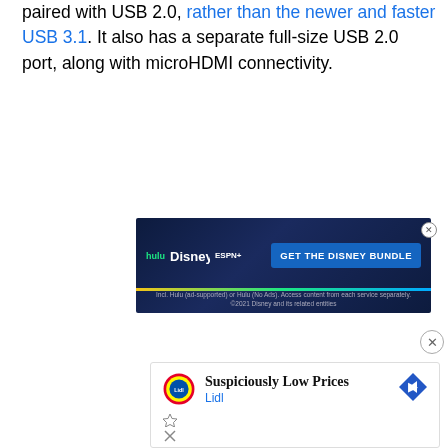paired with USB 2.0, rather than the newer and faster USB 3.1. It also has a separate full-size USB 2.0 port, along with microHDMI connectivity.
[Figure (other): Disney Bundle advertisement banner showing Hulu, Disney+, and ESPN+ logos with 'GET THE DISNEY BUNDLE' call to action button on dark blue background]
[Figure (other): Lidl advertisement with Lidl logo showing 'Suspiciously Low Prices' headline and Lidl brand name with navigation arrow icon]